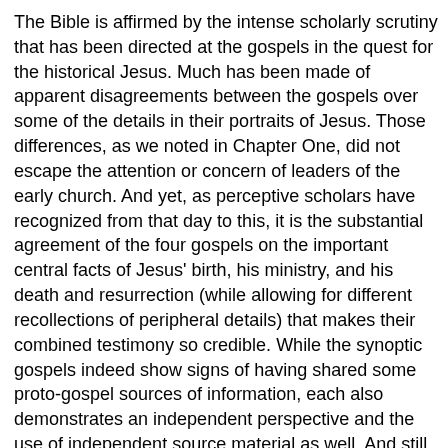The Bible is affirmed by the intense scholarly scrutiny that has been directed at the gospels in the quest for the historical Jesus. Much has been made of apparent disagreements between the gospels over some of the details in their portraits of Jesus. Those differences, as we noted in Chapter One, did not escape the attention or concern of leaders of the early church. And yet, as perceptive scholars have recognized from that day to this, it is the substantial agreement of the four gospels on the important central facts of Jesus' birth, his ministry, and his death and resurrection (while allowing for different recollections of peripheral details) that makes their combined testimony so credible. While the synoptic gospels indeed show signs of having shared some proto-gospel sources of information, each also demonstrates an independent perspective and the use of independent source material as well. And still they agree on the basics. The testimony of the gospels would be much more suspect had they been in lock-step on every detail. As we saw in Parts One and Four, the gospels are far more, but certainly no less, than history. They impart historical information, but it is information interpreted and packaged as "good news" proclamation. And while other external sources may help color the background and fill in some gaps, the gospel images of Jesus remain the most vivid, credible, and